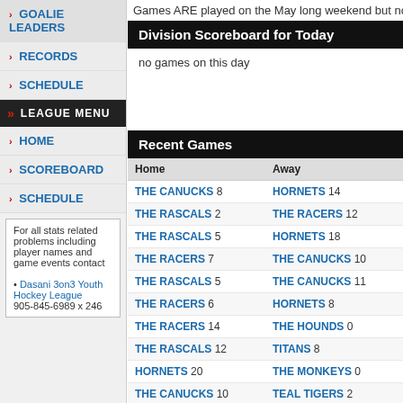GOALIE LEADERS
RECORDS
SCHEDULE
LEAGUE MENU
HOME
SCOREBOARD
SCHEDULE
For all stats related problems including player names and game events contact
• Dasani 3on3 Youth Hockey League
905-845-6989 x 246
Games ARE played on the May long weekend but not on the M…
Division Scoreboard for Today
no games on this day
Recent Games
| Home | Away |
| --- | --- |
| THE CANUCKS 8 | HORNETS 14 |
| THE RASCALS 2 | THE RACERS 12 |
| THE RASCALS 5 | HORNETS 18 |
| THE RACERS 7 | THE CANUCKS 10 |
| THE RASCALS 5 | THE CANUCKS 11 |
| THE RACERS 6 | HORNETS 8 |
| THE RACERS 14 | THE HOUNDS 0 |
| THE RASCALS 12 | TITANS 8 |
| HORNETS 20 | THE MONKEYS 0 |
| THE CANUCKS 10 | TEAL TIGERS 2 |